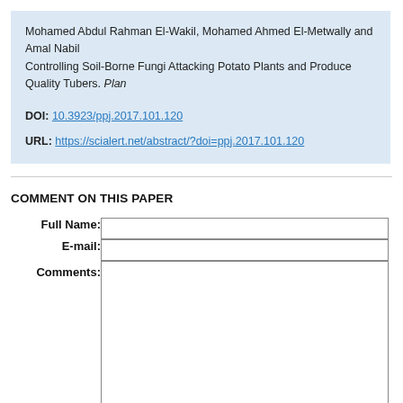Mohamed Abdul Rahman El-Wakil, Mohamed Ahmed El-Metwally and Amal Nabil Controlling Soil-Borne Fungi Attacking Potato Plants and Produce Quality Tubers. Plan
DOI: 10.3923/ppj.2017.101.120
URL: https://scialert.net/abstract/?doi=ppj.2017.101.120
COMMENT ON THIS PAPER
Full Name: [input field]
E-mail: [input field]
Comments: [textarea]